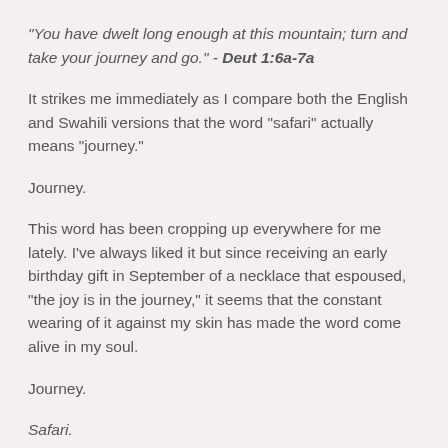"You have dwelt long enough at this mountain; turn and take your journey and go." - Deut 1:6a-7a
It strikes me immediately as I compare both the English and Swahili versions that the word "safari" actually means "journey."
Journey.
This word has been cropping up everywhere for me lately. I've always liked it but since receiving an early birthday gift in September of a necklace that espoused, "the joy is in the journey," it seems that the constant wearing of it against my skin has made the word come alive in my soul.
Journey.
Safari.